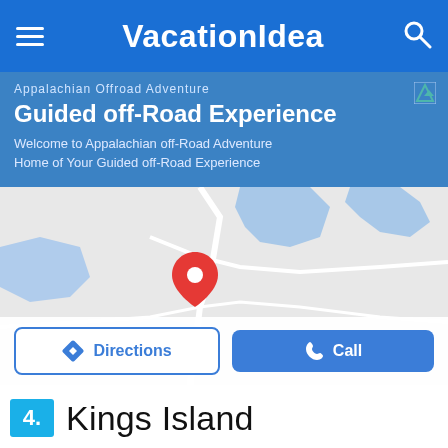VacationIdea
[Figure (screenshot): Advertisement banner for Appalachian Offroad Adventure - Guided off-Road Experience. Blue background with text: 'Appalachian Offroad Adventure', 'Guided off-Road Experience', 'Welcome to Appalachian off-Road Adventure Home of Your Guided off-Road Experience']
[Figure (map): Google Maps screenshot showing a coastal/island area with blue water bodies and land masses. A red location pin marker is placed in the center-left area of the map. Below the map are two buttons: 'Directions' (white with blue border) and 'Call' (blue).]
4. Kings Island
[Figure (photo): Partial image of Kings Island showing a light blue-gray sky, beginning to load at the bottom of the page.]